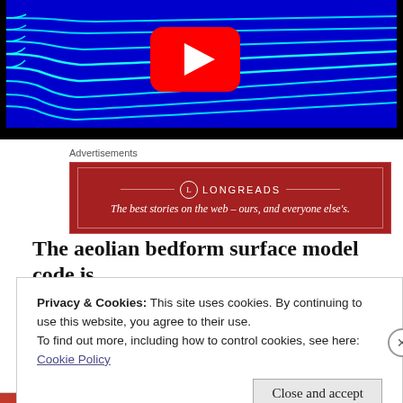[Figure (screenshot): YouTube video thumbnail showing a scientific simulation of aeolian bedform surface with cyan streamlines on a dark blue background, with a YouTube play button overlay.]
Advertisements
[Figure (infographic): Longreads advertisement banner: red background with logo and tagline 'The best stories on the web – ours, and everyone else's.']
The aeolian bedform surface model code is
Privacy & Cookies: This site uses cookies. By continuing to use this website, you agree to their use.
To find out more, including how to control cookies, see here:
Cookie Policy
Close and accept